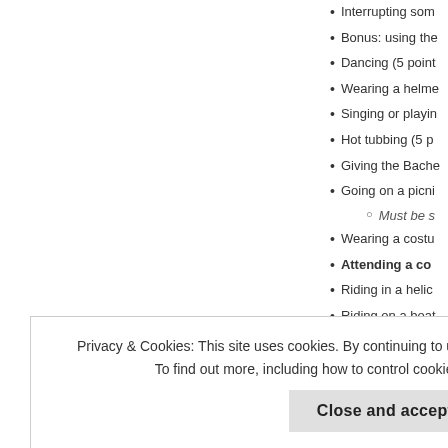Interrupting som
Bonus: using the
Dancing (5 point
Wearing a helme
Singing or playin
Hot tubbing (5 p
Giving the Bache
Going on a picni
Must be s
Wearing a costu
Attending a co
Riding in a helic
Riding on a boat
Kissing the Bach
Privacy & Cookies: This site uses cookies. By continuing to use this website, you agree to their use. To find out more, including how to control cookies, see here: Cookie Policy
Having a secre